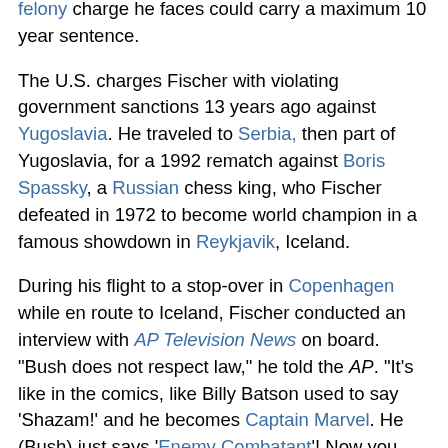felony charge he faces could carry a maximum 10 year sentence.
The U.S. charges Fischer with violating government sanctions 13 years ago against Yugoslavia. He traveled to Serbia, then part of Yugoslavia, for a 1992 rematch against Boris Spassky, a Russian chess king, who Fischer defeated in 1972 to become world champion in a famous showdown in Reykjavik, Iceland.
During his flight to a stop-over in Copenhagen while en route to Iceland, Fischer conducted an interview with AP Television News on board. "Bush does not respect law," he told the AP. "It's like in the comics, like Billy Batson used to say 'Shazam!' and he becomes Captain Marvel. He (Bush) just says 'Enemy Combatant'! Now you have no legal rights.' It's a farce," he said. "This is absolutely cooked up between Bush and Koizumi."